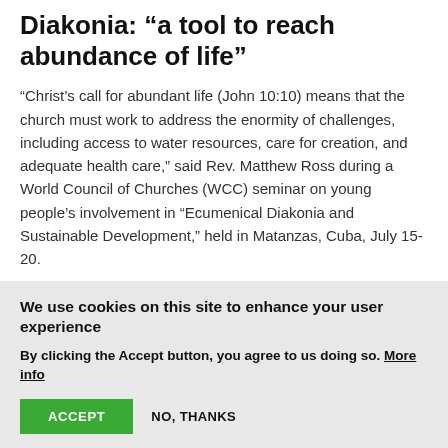Diakonia: “a tool to reach abundance of life”
“Christ’s call for abundant life (John 10:10) means that the church must work to address the enormity of challenges, including access to water resources, care for creation, and adequate health care,” said Rev. Matthew Ross during a World Council of Churches (WCC) seminar on young people’s involvement in “Ecumenical Diakonia and Sustainable Development,” held in Matanzas, Cuba, July 15-20.
24 July 2018
We use cookies on this site to enhance your user experience
By clicking the Accept button, you agree to us doing so. More info